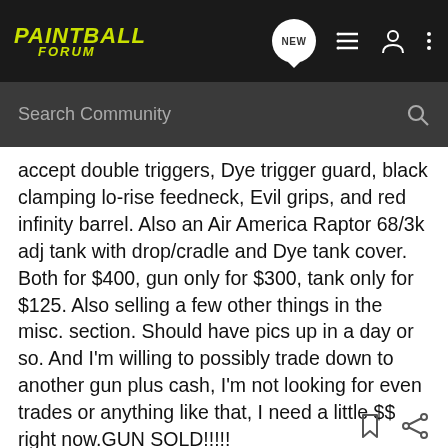PAINTBALL FORUM
accept double triggers, Dye trigger guard, black clamping lo-rise feedneck, Evil grips, and red infinity barrel. Also an Air America Raptor 68/3k adj tank with drop/cradle and Dye tank cover. Both for $400, gun only for $300, tank only for $125. Also selling a few other things in the misc. section. Should have pics up in a day or so. And I'm willing to possibly trade down to another gun plus cash, I'm not looking for even trades or anything like that, I need a little $$ right now.GUN SOLD!!!!!
flame Tribal BBT w/ Predator II
(soon to add Angel frame)